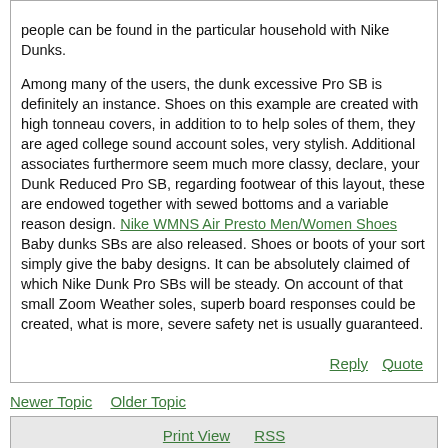people can be found in the particular household with Nike Dunks.

Among many of the users, the dunk excessive Pro SB is definitely an instance. Shoes on this example are created with high tonneau covers, in addition to to help soles of them, they are aged college sound account soles, very stylish. Additional associates furthermore seem much more classy, declare, your Dunk Reduced Pro SB, regarding footwear of this layout, these are endowed together with sewed bottoms and a variable reason design. Nike WMNS Air Presto Men/Women Shoes Baby dunks SBs are also released. Shoes or boots of your sort simply give the baby designs. It can be absolutely claimed of which Nike Dunk Pro SBs will be steady. On account of that small Zoom Weather soles, superb board responses could be created, what is more, severe safety net is usually guaranteed.
Reply   Quote
Newer Topic    Older Topic
Print View    RSS